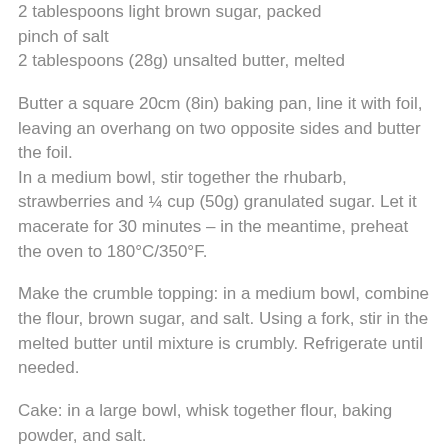2 tablespoons light brown sugar, packed
pinch of salt
2 tablespoons (28g) unsalted butter, melted
Butter a square 20cm (8in) baking pan, line it with foil, leaving an overhang on two opposite sides and butter the foil.
In a medium bowl, stir together the rhubarb, strawberries and ¼ cup (50g) granulated sugar. Let it macerate for 30 minutes – in the meantime, preheat the oven to 180°C/350°F.
Make the crumble topping: in a medium bowl, combine the flour, brown sugar, and salt. Using a fork, stir in the melted butter until mixture is crumbly. Refrigerate until needed.
Cake: in a large bowl, whisk together flour, baking powder, and salt.
In a stand mixer or another large bowl, beat the butter, lemon zest, and the remaining ½ cup (100g) of sugar until the mixture is light and fluffy. Beat in the egg and the vanilla. Add the flour mixture in 3 additions, alternating with the sour cream, beginning and ending with the flour mixture.